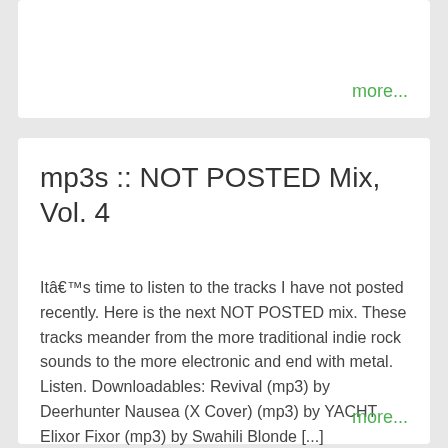more...
mp3s :: NOT POSTED Mix, Vol. 4
Itâ€™s time to listen to the tracks I have not posted recently. Here is the next NOT POSTED mix. These tracks meander from the more traditional indie rock sounds to the more electronic and end with metal. Listen. Downloadables: Revival (mp3) by Deerhunter Nausea (X Cover) (mp3) by YACHT Elixor Fixor (mp3) by Swahili Blonde [...]
more...